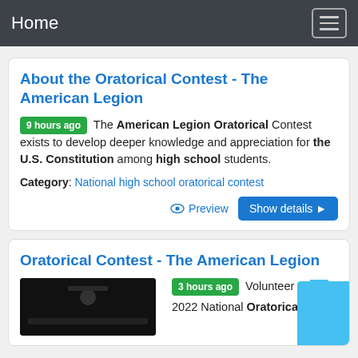Home
About the Oratorical Contest - The American Legion
9 hours ago  The American Legion Oratorical Contest exists to develop deeper knowledge and appreciation for the U.S. Constitution among high school students.
Category: National high school oratorical contest
Oratorical Contest - The American Legion
3 hours ago  Volunteer at the 2022 National Oratorical...